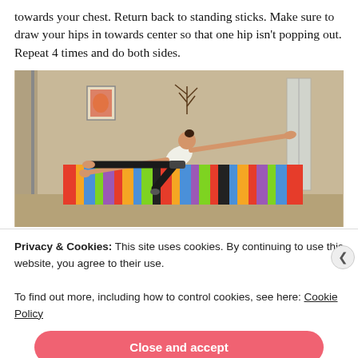towards your chest. Return back to standing sticks. Make sure to draw your hips in towards center so that one hip isn't popping out. Repeat 4 times and do both sides.
[Figure (photo): A person performing a yoga/balance exercise, extending their leg and arms outward horizontally, leaning over a colorful striped blanket/chair. Room background with wall art visible.]
Privacy & Cookies: This site uses cookies. By continuing to use this website, you agree to their use.
To find out more, including how to control cookies, see here: Cookie Policy
Close and accept